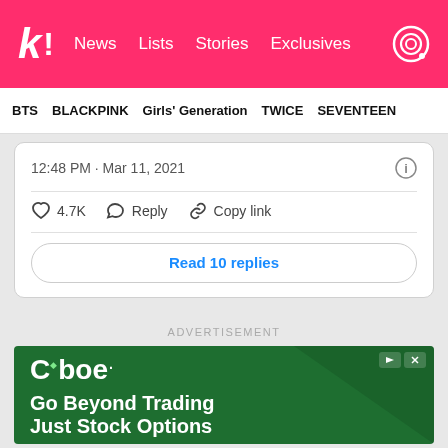k! News  Lists  Stories  Exclusives
BTS  BLACKPINK  Girls' Generation  TWICE  SEVENTEEN
12:48 PM · Mar 11, 2021
4.7K  Reply  Copy link
Read 10 replies
ADVERTISEMENT
[Figure (screenshot): Cboe advertisement banner with green background and text 'Go Beyond Trading Just Stock Options']